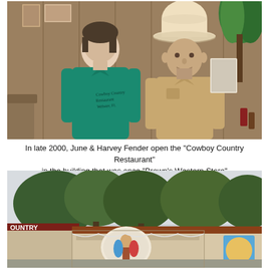[Figure (photo): A woman in a teal polo shirt with 'Cowboy Country Restaurant Webster, Fl.' embroidered on it stands next to a man wearing a tan Western shirt and a white cowboy hat. They are posed indoors with wood-paneled walls and plants in the background.]
In late 2000, June & Harvey Fender open the "Cowboy Country Restaurant" in the building that was once "Brown's Western Store"
[Figure (photo): Exterior photo of a small roadside restaurant building with a sign reading 'COUNTRY' on the left and a decorative arched mural on the front. Trees are visible behind the building and the sky is overcast.]